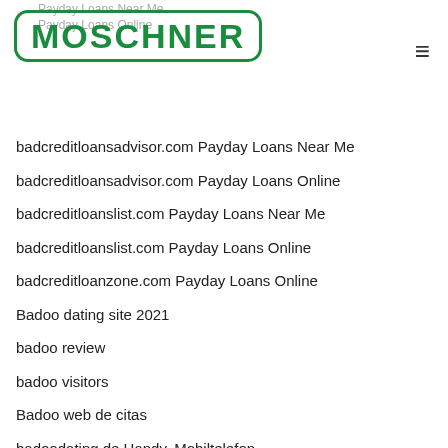MOSCHNER — Payday Loans Near Me / Payday Loans Online
badcreditloansadvisor.com Payday Loans Near Me
badcreditloansadvisor.com Payday Loans Online
badcreditloanslist.com Payday Loans Near Me
badcreditloanslist.com Payday Loans Online
badcreditloanzone.com Payday Loans Online
Badoo dating site 2021
badoo review
badoo visitors
Badoo web de citas
badoodating.de Handy, Mobiltelefon
badoodating.de Mobile Seite
badoodating.de Profil